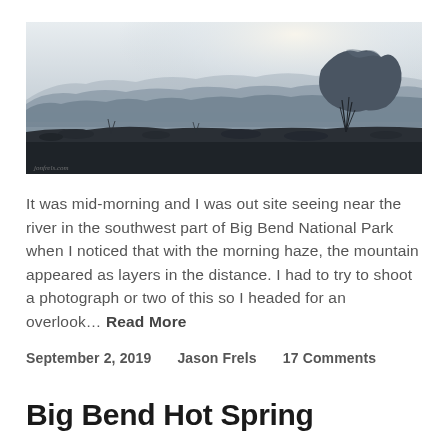[Figure (photo): Landscape photograph of Big Bend National Park showing layered mountain silhouettes in morning haze. Dark foreground with desert scrub, receding mountain ridges in middle distance, bright hazy sky. A large prominent rock formation stands on the right. Watermark bottom-left: jonfrels.com]
It was mid-morning and I was out site seeing near the river in the southwest part of Big Bend National Park when I noticed that with the morning haze, the mountain appeared as layers in the distance. I had to try to shoot a photograph or two of this so I headed for an overlook… Read More
September 2, 2019    Jason Frels    17 Comments
Big Bend Hot Spring